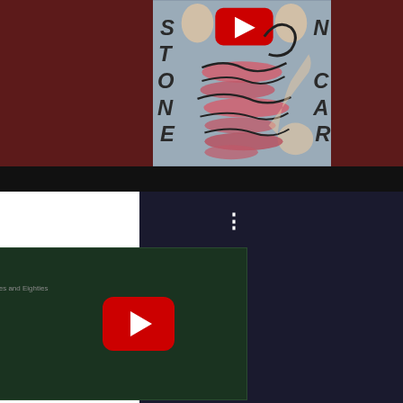[Figure (screenshot): YouTube video thumbnail showing artistic album cover with lips imagery, Stone Car text letters, and YouTube play button on grey/mauve background with dark red borders]
[Figure (screenshot): YouTube channel page showing Shing Kee (1986) channel with colorful avatar, channel name, three-dot menu, and Carl Stone Electronic Music album thumbnail with red play button on dark green background]